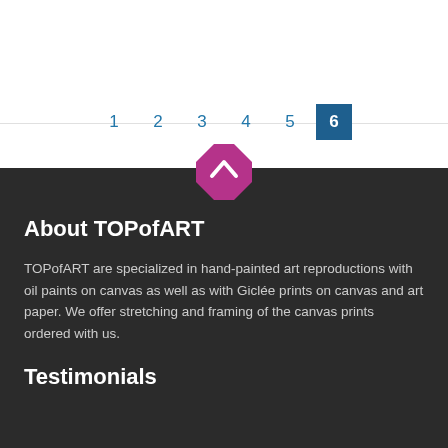[Figure (other): Pagination navigation bar with page numbers 1-6, where 6 is highlighted in blue]
[Figure (other): Pink/magenta octagonal scroll-to-top button with an upward chevron arrow]
About TOPofART
TOPofART are specialized in hand-painted art reproductions with oil paints on canvas as well as with Giclée prints on canvas and art paper. We offer stretching and framing of the canvas prints ordered with us.
Testimonials